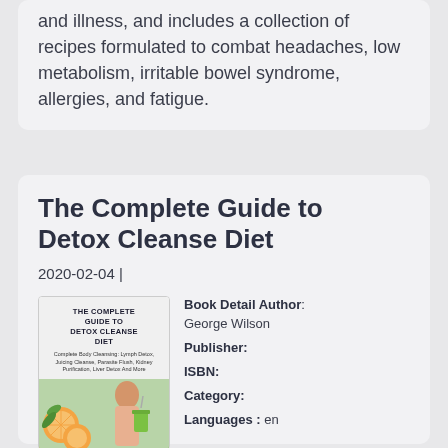and illness, and includes a collection of recipes formulated to combat headaches, low metabolism, irritable bowel syndrome, allergies, and fatigue.
The Complete Guide to Detox Cleanse Diet
2020-02-04  |
[Figure (illustration): Book cover of 'The Complete Guide to Detox Cleanse Diet' by George Wilson showing title text and a woman holding a green juice with fruits and vegetables]
Book Detail Author: George Wilson
Publisher:
ISBN:
Category:
Languages: en